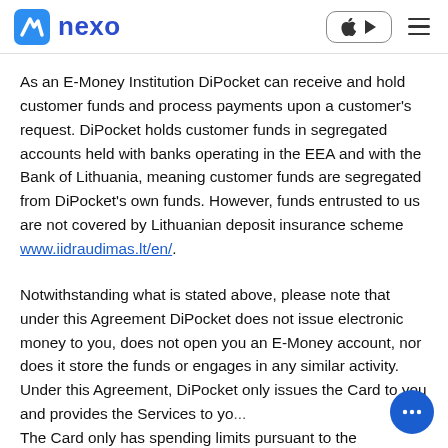nexo
As an E-Money Institution DiPocket can receive and hold customer funds and process payments upon a customer's request. DiPocket holds customer funds in segregated accounts held with banks operating in the EEA and with the Bank of Lithuania, meaning customer funds are segregated from DiPocket's own funds. However, funds entrusted to us are not covered by Lithuanian deposit insurance scheme www.iidraudimas.lt/en/.
Notwithstanding what is stated above, please note that under this Agreement DiPocket does not issue electronic money to you, does not open you an E-Money account, nor does it store the funds or engages in any similar activity. Under this Agreement, DiPocket only issues the Card to you and provides the Services to yo... The Card only has spending limits pursuant to the...